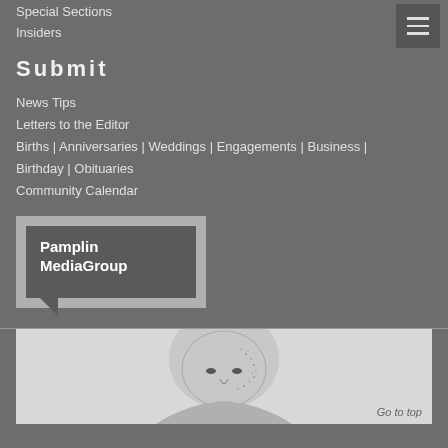Special Sections
Insiders
Submit
News Tips
Letters to the Editor
Births | Anniversaries | Weddings | Engagements | Business | Birthday | Obituaries
Community Calendar
[Figure (logo): Pamplin MediaGroup logo — white text on dark grey speech-bubble shaped box with light grey border]
[Figure (illustration): Black and white stipple portrait illustration of a bald elderly man, partially visible at bottom of page]
Go to top